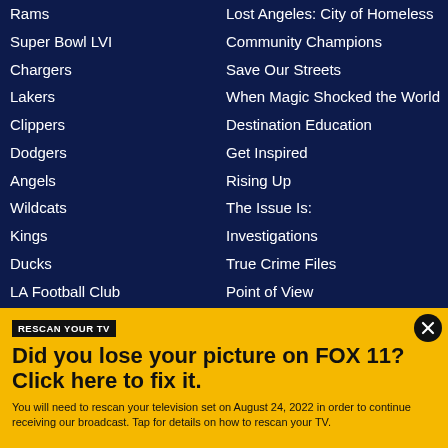Rams
Super Bowl LVI
Chargers
Lakers
Clippers
Dodgers
Angels
Wildcats
Kings
Ducks
LA Football Club
Angel City Football Club
Galaxy
Lost Angeles: City of Homeless
Community Champions
Save Our Streets
When Magic Shocked the World
Destination Education
Get Inspired
Rising Up
The Issue Is:
Investigations
True Crime Files
Point of View
RESCAN YOUR TV
Did you lose your picture on FOX 11? Click here to fix it.
You will need to rescan your television set on August 24, 2022 in order to continue receiving our broadcast. Tap for details on how to rescan your TV.